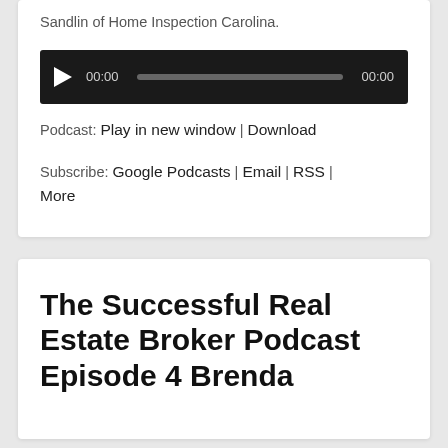Sandlin of Home Inspection Carolina.
[Figure (other): Audio player widget with play button, time display 00:00, progress bar, and end time 00:00 on dark background]
Podcast: Play in new window | Download
Subscribe: Google Podcasts | Email | RSS | More
The Successful Real Estate Broker Podcast Episode 4 Brenda